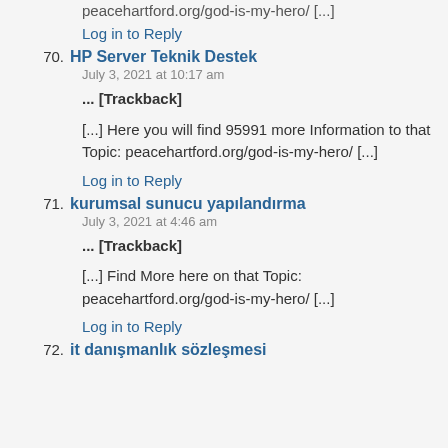peacehartford.org/god-is-my-hero/ [...]
Log in to Reply
70. HP Server Teknik Destek
July 3, 2021 at 10:17 am
... [Trackback]
[...] Here you will find 95991 more Information to that Topic: peacehartford.org/god-is-my-hero/ [...]
Log in to Reply
71. kurumsal sunucu yapılandırma
July 3, 2021 at 4:46 am
... [Trackback]
[...] Find More here on that Topic: peacehartford.org/god-is-my-hero/ [...]
Log in to Reply
72. it danışmanlık sözleşmesi